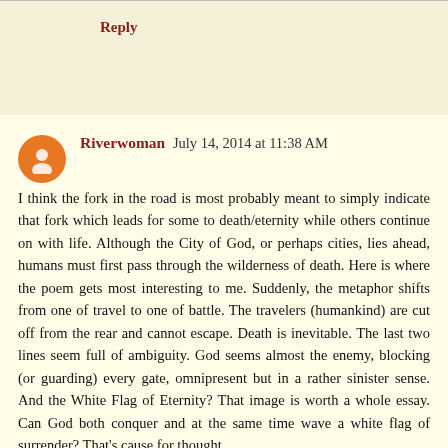Reply
Riverwoman  July 14, 2014 at 11:38 AM
I think the fork in the road is most probably meant to simply indicate that fork which leads for some to death/eternity while others continue on with life. Although the City of God, or perhaps cities, lies ahead, humans must first pass through the wilderness of death. Here is where the poem gets most interesting to me. Suddenly, the metaphor shifts from one of travel to one of battle. The travelers (humankind) are cut off from the rear and cannot escape. Death is inevitable. The last two lines seem full of ambiguity. God seems almost the enemy, blocking (or guarding) every gate, omnipresent but in a rather sinister sense. And the White Flag of Eternity? That image is worth a whole essay. Can God both conquer and at the same time wave a white flag of surrender? That's cause for thought.
Reply
Replies